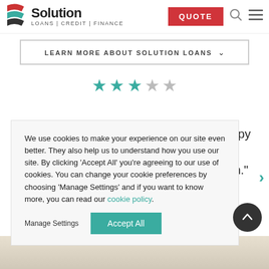Solution LOANS | CREDIT | FINANCE — QUOTE
LEARN MORE ABOUT SOLUTION LOANS
[Figure (other): 3 out of 5 star rating displayed in teal and grey stars]
We use cookies to make your experience on our site even better. They also help us to understand how you use our site. By clicking 'Accept All' you're agreeing to our use of cookies. You can change your cookie preferences by choosing 'Manage Settings' and if you want to know more, you can read our cookie policy.
happy the gain."